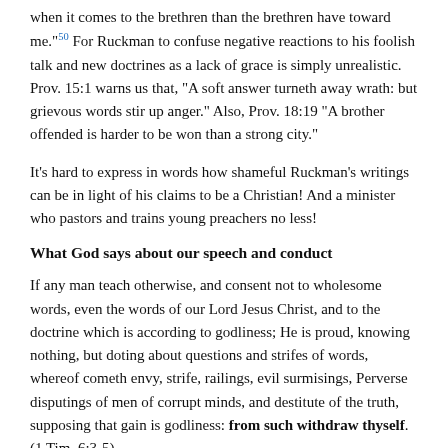when it comes to the brethren than the brethren have toward me."50 For Ruckman to confuse negative reactions to his foolish talk and new doctrines as a lack of grace is simply unrealistic. Prov. 15:1 warns us that, "A soft answer turneth away wrath: but grievous words stir up anger." Also, Prov. 18:19 "A brother offended is harder to be won than a strong city."
It’s hard to express in words how shameful Ruckman’s writings can be in light of his claims to be a Christian! And a minister who pastors and trains young preachers no less!
What God says about our speech and conduct
If any man teach otherwise, and consent not to wholesome words, even the words of our Lord Jesus Christ, and to the doctrine which is according to godliness; He is proud, knowing nothing, but doting about questions and strifes of words, whereof cometh envy, strife, railings, evil surmisings, Perverse disputings of men of corrupt minds, and destitute of the truth, supposing that gain is godliness: from such withdraw thyself. (1 Tim. 6:3-5)